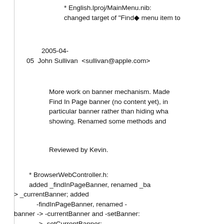* English.lproj/MainMenu.nib:
            changed target of "Find◆ menu item to
2005-04-
05  John Sullivan  <sullivan@apple.com>
More work on banner mechanism. Made
            Find In Page banner (no content yet), in
            particular banner rather than hiding wha
            showing. Renamed some methods and
Reviewed by Kevin.
* BrowserWebController.h:
            added _findInPageBanner, renamed _ba
> _currentBanner; added
            -findInPageBanner, renamed -
banner -> -currentBanner and -setBanner:
            -> -setCurrentBanner:
            * BrowserWebController.m:
            (-[BrowserWebView dealloc]):
            updated for renamings, and now release
            (-
[BrowserWebView findInPageBanner]):
            new method, lazily creates banner that v
            (-
[BrowserWebView currentBanner]):
            updated for renamings
            (-
[BrowserWebView currentBanner]):